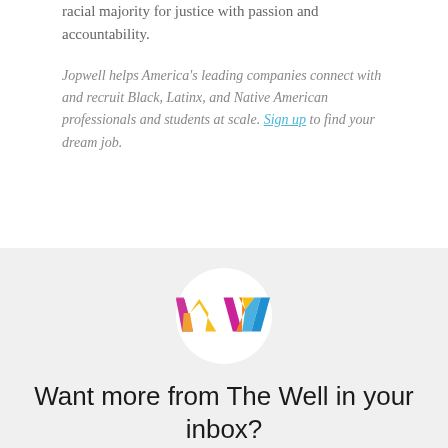racial majority for justice with passion and accountability.
Jopwell helps America's leading companies connect with and recruit Black, Latinx, and Native American professionals and students at scale. Sign up to find your dream job.
[Figure (logo): Colorful W logo on white circle against light gray background]
Want more from The Well in your inbox?